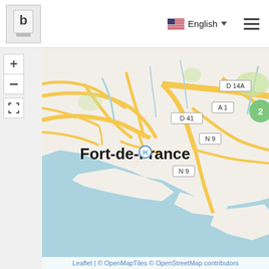[Figure (screenshot): Web application navigation bar with a logo icon on the left, and English language selector with US flag and hamburger menu on the right]
[Figure (map): OpenStreetMap/OpenMapTiles map centered on Fort-de-France, Martinique. Shows road network with labeled routes D41, A1, D14A, N9. Map includes zoom controls (+/-) and fullscreen button. A green cluster marker showing '2' appears at top right. The city name 'Fort-de-France' is displayed prominently with a helipad marker. The southern portion shows the Caribbean Sea in light blue.]
Leaflet | © OpenMapTiles © OpenStreetMap contributors